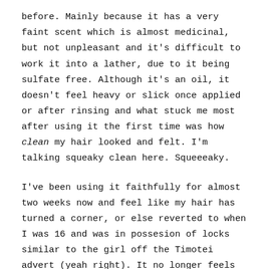before. Mainly because it has a very faint scent which is almost medicinal, but not unpleasant and it's difficult to work it into a lather, due to it being sulfate free. Although it's an oil, it doesn't feel heavy or slick once applied or after rinsing and what stuck me most after using it the first time was how clean my hair looked and felt. I'm talking squeaky clean here. Squeeeaky.

I've been using it faithfully for almost two weeks now and feel like my hair has turned a corner, or else reverted to when I was 16 and was in possesion of locks similar to the girl off the Timotei advert (yeah right). It no longer feels dry or wiry and it looks incredibly shiny and full of oomph. The main thing is, it looks good. It looks like really clean, really healthy, undamaged hair. Whether that's all down to this one shampoo is hard to say, but I would take a chance here and say it is. The conditioner is similar to other conditioners I've tried before but as soon as this is applied onto wet hair you can feel the difference. It's like touching silk, and it stays like